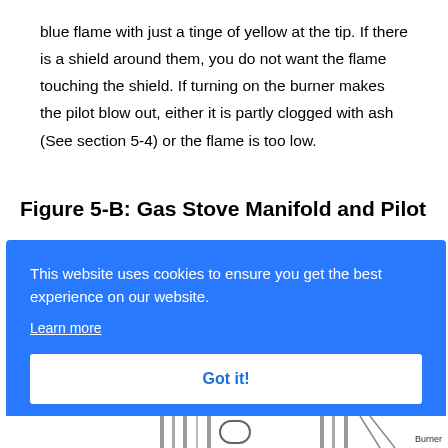blue flame with just a tinge of yellow at the tip. If there is a shield around them, you do not want the flame touching the shield. If turning on the burner makes the pilot blow out, either it is partly clogged with ash (See section 5-4) or the flame is too low.
Figure 5-B: Gas Stove Manifold and Pilot
[Figure (screenshot): Cookie consent overlay banner with blue background reading 'This website uses cookies to ensure you get the best experience on our website.' with a 'Learn more' link and a 'Got it!' button.]
[Figure (engineering-diagram): Partial view of a gas stove manifold and pilot diagram, with a 'Burner' label visible at the bottom right.]